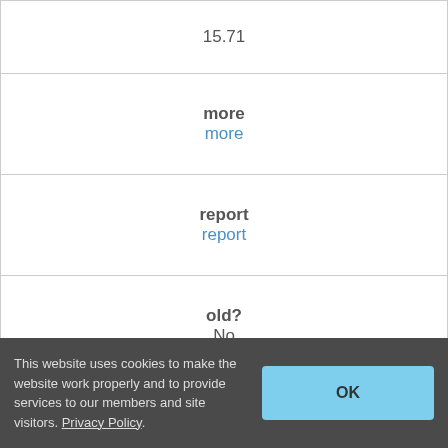| 15.71 |
| more | more |
| report | report |
| old? | No |
| cities | Chesapeake & Ohio Canal Tow Path |
| rider name | Kevin Clune |
This website uses cookies to make the website work properly and to provide services to our members and site visitors. Privacy Policy.